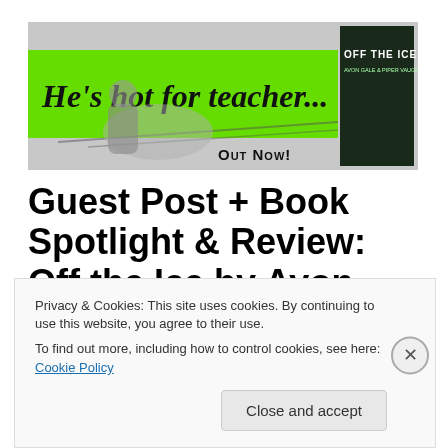[Figure (illustration): Promotional banner for the book 'Off the Ice' by Avon Gale & Piper Vaughn. Green and white banner with italic script text reading 'He's hot for teacher...' over a hockey player image. A book cover thumbnail is shown on the right. Bold text reads 'Out Now!' at the bottom right.]
Guest Post + Book Spotlight & Review: Off the Ice by Avon Gale & Piper Vaughn (w/
Privacy & Cookies: This site uses cookies. By continuing to use this website, you agree to their use.
To find out more, including how to control cookies, see here: Cookie Policy
Close and accept